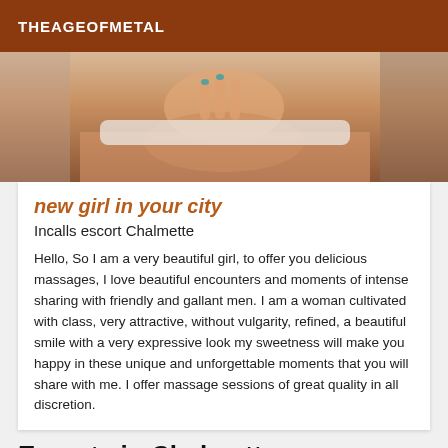THEAGEOFMETAL
[Figure (photo): Cropped photo of a woman's torso and legs, wearing white shorts, standing outdoors near a stone wall]
new girl in your city
Incalls escort Chalmette
Hello, So I am a very beautiful girl, to offer you delicious massages, I love beautiful encounters and moments of intense sharing with friendly and gallant men. I am a woman cultivated with class, very attractive, without vulgarity, refined, a beautiful smile with a very expressive look my sweetness will make you happy in these unique and unforgettable moments that you will share with me. I offer massage sessions of great quality in all discretion.
Escorts in Chalmette